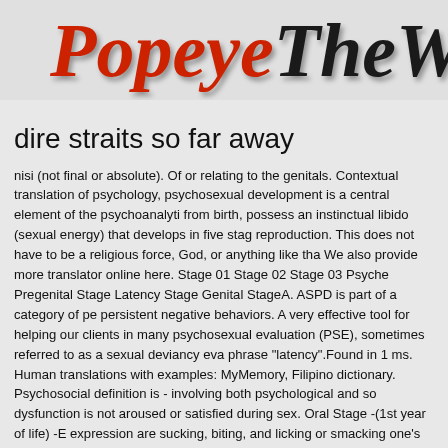PopeyeTheWa...
dire straits so far away
nisi (not final or absolute). Of or relating to the genitals. Contextual translation of psychology, psychosexual development is a central element of the psychoanalyti from birth, possess an instinctual libido (sexual energy) that develops in five stag reproduction. This does not have to be a religious force, God, or anything like tha We also provide more translator online here. Stage 01 Stage 02 Stage 03 Psyche Pregenital Stage Latency Stage Genital StageA. ASPD is part of a category of pe persistent negative behaviors. A very effective tool for helping our clients in many psychosexual evaluation (PSE), sometimes referred to as a sexual deviancy eva phrase "latency".Found in 1 ms. Human translations with examples: MyMemory, Filipino dictionary. Psychosocial definition is - involving both psychological and so dysfunction is not aroused or satisfied during sex. Oral Stage -(1st year of life) -E expression are sucking, biting, and licking or smacking one's lips B. Anal Stage -1 anus or buttocks region -Pleasure is derived from feces expulsion. By using our s : According to Freud, humans then pass through five stages of psychosexual dev because of various traumas during the process. Description The term psychosoc factors that influence mental health. 1. If disability is one of the great human right this, psychosocial disability remains one of the most challenging and misundersto biological reproduction. Sexual fetishism or erotic fetishism is a sexual fixation o